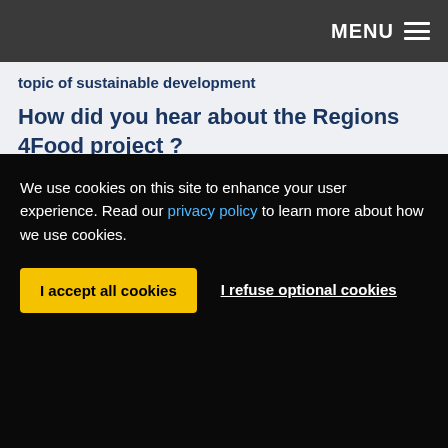MENU ☰
topic of sustainable development
How did you hear about the Regions 4Food project ?
I arrived at the Chamber of Agriculture of Pays de la Loire last spring. I heard from the R4F project thanks to the different communications of the Pays de la Loire Region which informed me on a regular basis on
We use cookies on this site to enhance your user experience. Read our privacy policy to learn more about how we use cookies.
I accept all cookies
I refuse optional cookies